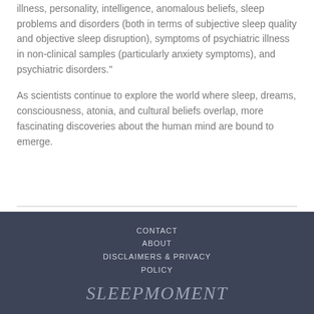illness, personality, intelligence, anomalous beliefs, sleep problems and disorders (both in terms of subjective sleep quality and objective sleep disruption), symptoms of psychiatric illness in non-clinical samples (particularly anxiety symptoms), and psychiatric disorders."
As scientists continue to explore the world where sleep, dreams, consciousness, atonia, and cultural beliefs overlap, more fascinating discoveries about the human mind are bound to emerge.
CONTACT
ABOUT
DISCLAIMERS & PRIVACY POLICY
SLEEPMOMENT